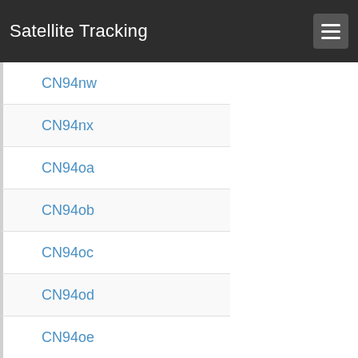Satellite Tracking
CN94nw
CN94nx
CN94oa
CN94ob
CN94oc
CN94od
CN94oe
CN94of
CN94og
CN94oh
CN94oi
CN94oj
CN94ok
CN94ol
CN94om
CN94on
CN94oo
CN94op